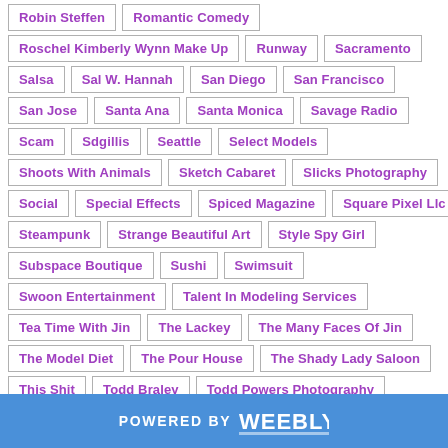Robin Steffen
Romantic Comedy
Roschel Kimberly Wynn Make Up
Runway
Sacramento
Salsa
Sal W. Hannah
San Diego
San Francisco
San Jose
Santa Ana
Santa Monica
Savage Radio
Scam
Sdgillis
Seattle
Select Models
Shoots With Animals
Sketch Cabaret
Slicks Photography
Social
Special Effects
Spiced Magazine
Square Pixel Llc
Steampunk
Strange Beautiful Art
Style Spy Girl
Subspace Boutique
Sushi
Swimsuit
Swoon Entertainment
Talent In Modeling Services
Tea Time With Jin
The Lackey
The Many Faces Of Jin
The Model Diet
The Pour House
The Shady Lady Saloon
This Shit
Todd Braley
Todd Powers Photography
Tony Case Photography
Travel
Tricia Leigh Make Up Artist
POWERED BY weebly